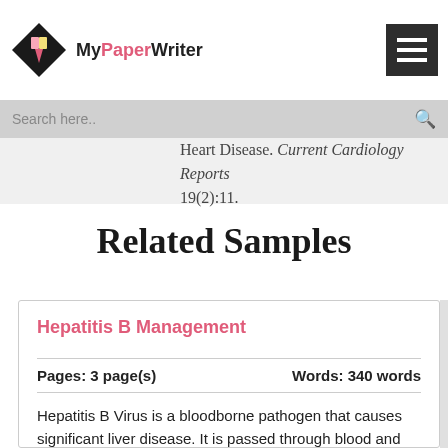MyPaperWriter
Heart Disease. Current Cardiology Reports 19(2):11.
Related Samples
Hepatitis B Management
Pages: 3 page(s)    Words: 340 words
Hepatitis B Virus is a bloodborne pathogen that causes significant liver disease. It is passed through blood and